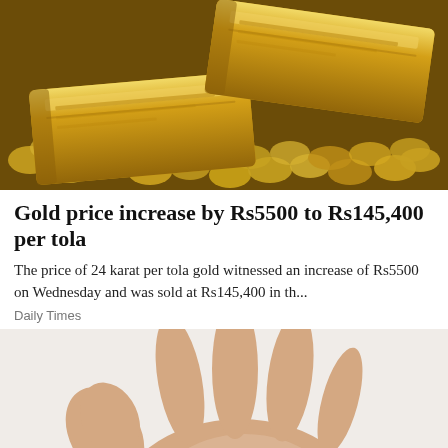[Figure (photo): Photo of gold bars and gold coins piled together on a dark golden background]
Gold price increase by Rs5500 to Rs145,400 per tola
The price of 24 karat per tola gold witnessed an increase of Rs5500 on Wednesday and was sold at Rs145,400 in th...
Daily Times
[Figure (photo): Photo of an open human hand holding small dark red seeds or berries against a light grey background]